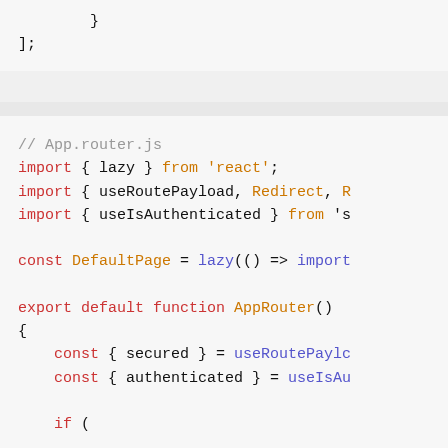[Figure (screenshot): Code snippet showing closing brace and semicolon from a previous block]
[Figure (screenshot): Code snippet: App.router.js file with import statements for lazy, useRoutePayload, Redirect, and useIsAuthenticated, plus const DefaultPage lazy import, export default function AppRouter, and const declarations inside the function body]